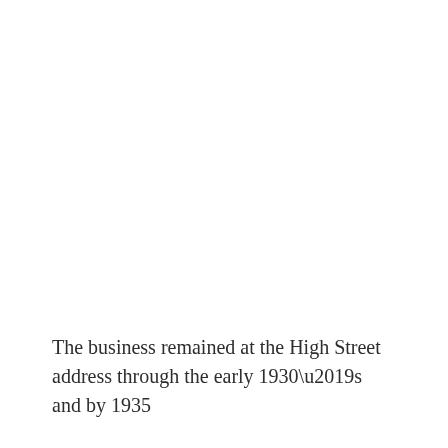The business remained at the High Street address through the early 1930’s and by 1935